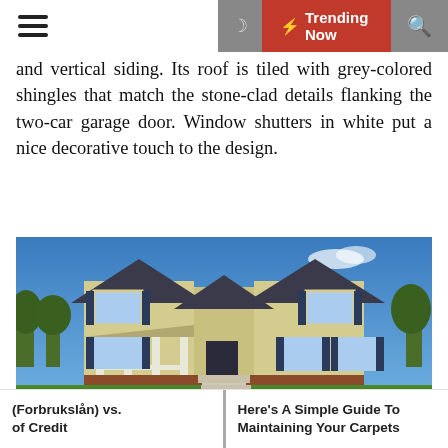Trending Now
and vertical siding. Its roof is tiled with grey-colored shingles that match the stone-clad details flanking the two-car garage door. Window shutters in white put a nice decorative touch to the design.
[Figure (photo): A two-story residential house with yellow siding, dark shutters, front porch with white railings, dark roof, brick foundation, and green lawn under a blue sky.]
(Forbrukslån) vs. of Credit | Here's A Simple Guide To Maintaining Your Carpets